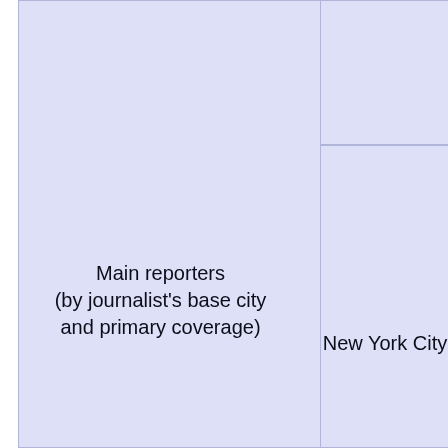[Figure (other): A cropped table or diagram showing cells with light blue/lavender background. The left large cell contains the text 'Main reporters (by journalist's base city and primary coverage)'. The right side is split into two cells: a top-right cell (empty) and a bottom-right cell containing 'New York City'.]
Main reporters (by journalist's base city and primary coverage)
New York City